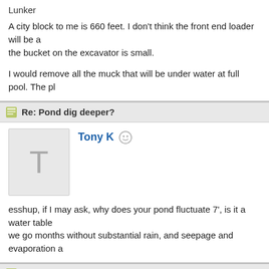Lunker
A city block to me is 660 feet. I don't think the front end loader will be a... the bucket on the excavator is small.
I would remove all the muck that will be under water at full pool. The pl...
Re: Pond dig deeper?
Tony K
esshup, if I may ask, why does your pond fluctuate 7', is it a water table... we go months without substantial rain, and seepage and evaporation a...
Re: Pond dig deeper?
esshup
Moderator
Ambassador
Field Correspondent